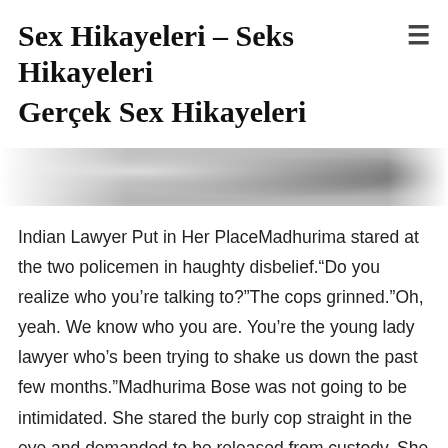Sex Hikayeleri – Seks Hikayeleri Gerçek Sex Hikayeleri
[Figure (photo): Partial black and white photograph strip showing two people, cropped at top and bottom]
Indian Lawyer Put in Her PlaceMadhurima stared at the two policemen in haughty disbelief.“Do you realize who you’re talking to?”The cops grinned.“Oh, yeah. We know who you are. You’re the young lady lawyer who’s been trying to shake us down the past few months.”Madhurima Bose was not going to be intimidated. She stared the burly cop straight in the eye and demanded to be released from custody. She knew thecops were mad at her. She’d represented several complaints against the force lately and gotten a lot of press attention, winning all